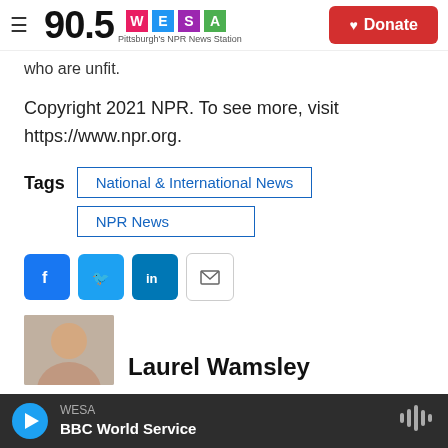90.5 WESA Pittsburgh's NPR News Station | Donate
who are unfit.
Copyright 2021 NPR. To see more, visit https://www.npr.org.
Tags  National & International News  NPR News
[Figure (other): Social share buttons: Facebook, Twitter, LinkedIn, Email]
Laurel Wamsley
WESA BBC World Service (audio player bar)